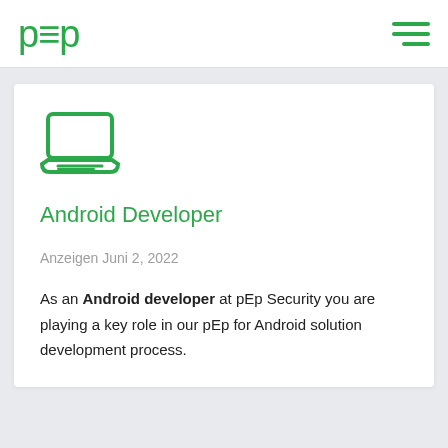p≡p
[Figure (illustration): Green outline icon of a laptop computer]
Android Developer
Anzeigen Juni 2, 2022
As an Android developer at pEp Security you are playing a key role in our pEp for Android solution development process.